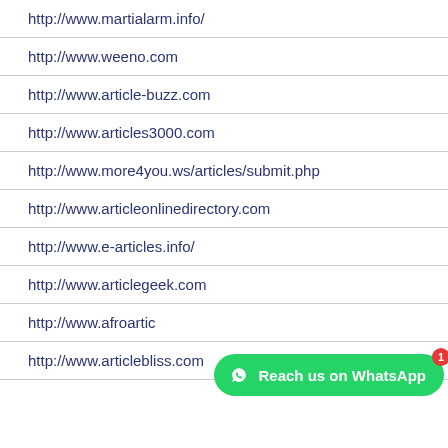| http://www.martialarm.info/ |
| http://www.weeno.com |
| http://www.article-buzz.com |
| http://www.articles3000.com |
| http://www.more4you.ws/articles/submit.php |
| http://www.articleonlinedirectory.com |
| http://www.e-articles.info/ |
| http://www.articlegeek.com |
| http://www.afroartic… |
| http://www.articlebliss.com |
[Figure (infographic): Green WhatsApp button overlay with 'Reach us on WhatsApp' text, WhatsApp logo icon, and red badge showing '1']